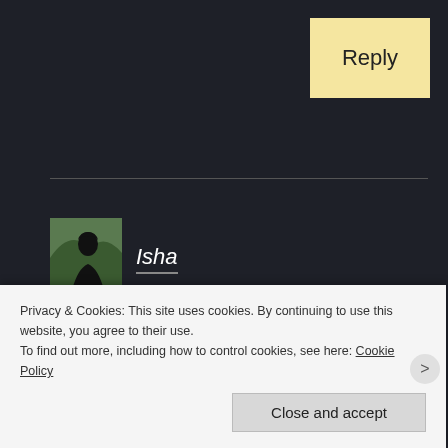Reply
Isha
November 9, 2021 at 12:39 pm
Sounds like an interesting read. Stories that you can personally connect to, and can identify with are truly a blessing. Thank you for reading, have a great day!
Privacy & Cookies: This site uses cookies. By continuing to use this website, you agree to their use.
To find out more, including how to control cookies, see here: Cookie Policy
Close and accept